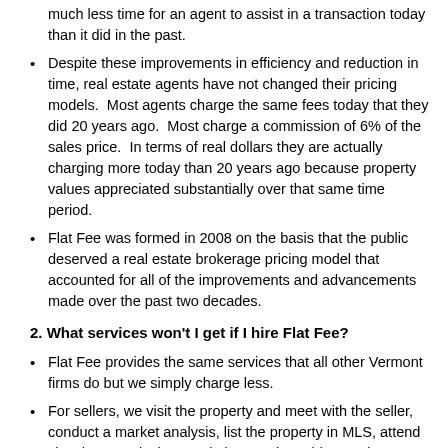much less time for an agent to assist in a transaction today than it did in the past.
Despite these improvements in efficiency and reduction in time, real estate agents have not changed their pricing models.  Most agents charge the same fees today that they did 20 years ago.  Most charge a commission of 6% of the sales price.  In terms of real dollars they are actually charging more today than 20 years ago because property values appreciated substantially over that same time period.
Flat Fee was formed in 2008 on the basis that the public deserved a real estate brokerage pricing model that accounted for all of the improvements and advancements made over the past two decades.
2. What services won't I get if I hire Flat Fee?
Flat Fee provides the same services that all other Vermont firms do but we simply charge less.
For sellers, we visit the property and meet with the seller, conduct a market analysis, list the property in MLS, attend showings, assist in negotiations and provide ongoing guidance and advice until the property sells.
For buyers, we send new listings, schedule and attend showings,